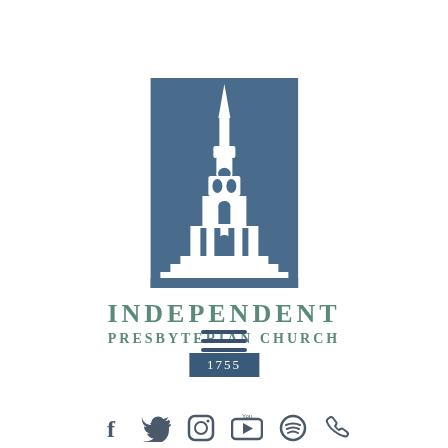[Figure (logo): Independent Presbyterian Church logo: blue rectangle with illustrated church steeple/tower in white, with text INDEPENDENT PRESBYTERIAN CHURCH 1755 below]
[Figure (illustration): Hamburger menu icon: three horizontal dark blue lines]
[Figure (illustration): Row of social media icons at bottom: Facebook, Twitter, Instagram, YouTube, Spotify, Phone]